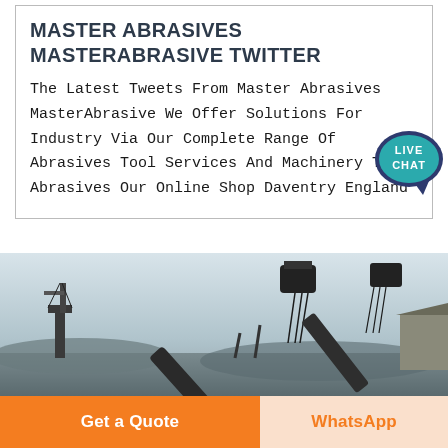MASTER ABRASIVES MASTERABRASIVE TWITTER
The Latest Tweets From Master Abrasives MasterAbrasive We Offer Solutions For Industry Via Our Complete Range Of Abrasives Tool Services And Machinery Tools Abrasives Our Online Shop Daventry England
[Figure (illustration): Live Chat speech bubble badge icon in teal/dark blue with white text 'LIVE CHAT']
[Figure (photo): Industrial quarry or mining site with conveyor belt structures and machinery against a pale sky background]
Get a Quote
WhatsApp